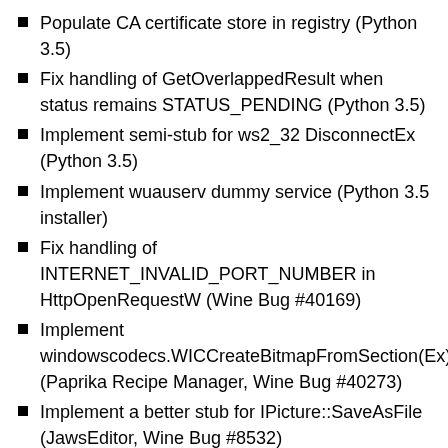Populate CA certificate store in registry (Python 3.5)
Fix handling of GetOverlappedResult when status remains STATUS_PENDING (Python 3.5)
Implement semi-stub for ws2_32 DisconnectEx (Python 3.5)
Implement wuauserv dummy service (Python 3.5 installer)
Fix handling of INTERNET_INVALID_PORT_NUMBER in HttpOpenRequestW (Wine Bug #40169)
Implement windowscodecs.WICCreateBitmapFromSection(Ex) (Paprika Recipe Manager, Wine Bug #40273)
Implement a better stub for IPicture::SaveAsFile (JawsEditor, Wine Bug #8532)
Implement query operation in reg.exe (Wine Bug #24017)